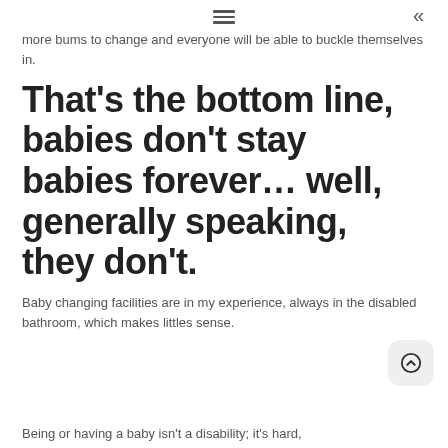≡  «
more bums to change and everyone will be able to buckle themselves in.
That's the bottom line, babies don't stay babies forever… well, generally speaking, they don't.
Baby changing facilities are in my experience, always in the disabled bathroom, which makes littles sense.
Being or having a baby isn't a disability; it's hard,